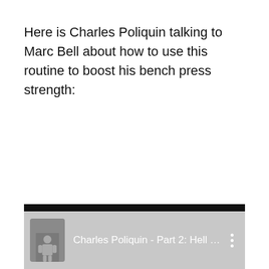Here is Charles Poliquin talking to Marc Bell about how to use this routine to boost his bench press strength:
[Figure (screenshot): YouTube video thumbnail bar showing a video titled 'Charles Poliquin - Part 2: Hell Yes, ...' with a thumbnail image of a muscular figure, a dark top bar, and a gray bottom bar with title text and a vertical dots menu icon.]